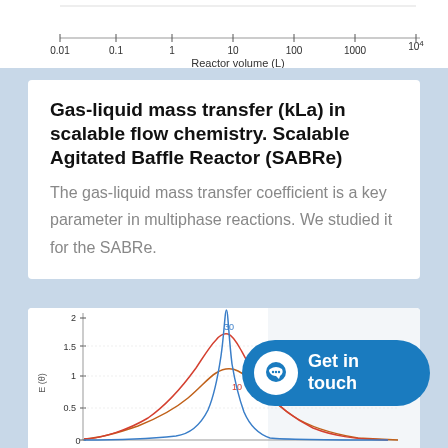[Figure (continuous-plot): Top portion of a log-scale chart with x-axis labeled 'Reactor volume (L)' and tick marks at 0.01, 0.1, 1, 10, 100, 1000, 10^4]
Gas-liquid mass transfer (kLa) in scalable flow chemistry. Scalable Agitated Baffle Reactor (SABRe)
The gas-liquid mass transfer coefficient is a key parameter in multiphase reactions. We studied it for the SABRe.
[Figure (continuous-plot): Partial view of a curve chart showing E(θ) on y-axis (0 to 2.5) with curves labeled 3, 10, 30 representing Number of ideal CSTRs. Blue curve peaks at ~30, red/orange curve at ~10, lower curve at ~3.]